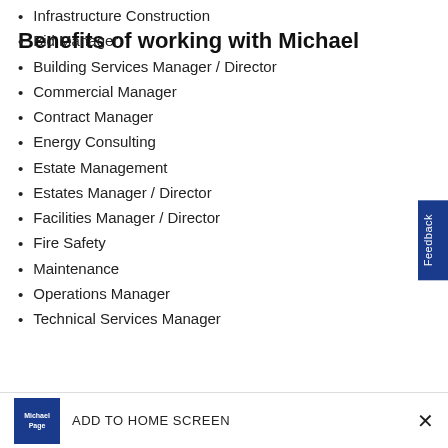Infrastructure Construction
Bid Manager
Building Services Manager / Director
Commercial Manager
Contract Manager
Energy Consulting
Estate Management
Estates Manager / Director
Facilities Manager / Director
Fire Safety
Maintenance
Operations Manager
Technical Services Manager
Benefits of working with Michael
ADD TO HOME SCREEN